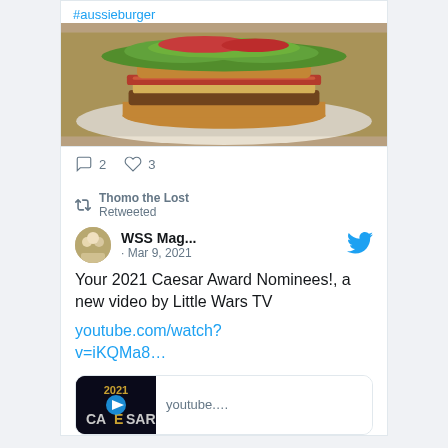#aussieburger
[Figure (photo): Photo of an Aussie burger on a white plate — a large bun stacked with lettuce, tomato, bacon, egg and patty]
2  3
Thomo the Lost Retweeted
WSS Mag... · Mar 9, 2021
Your 2021 Caesar Award Nominees!, a new video by Little Wars TV
youtube.com/watch?v=iKQMa8...
[Figure (screenshot): YouTube video preview thumbnail showing '2021' text and Caesar Award branding with a play button, alongside 'youtube....' text label]